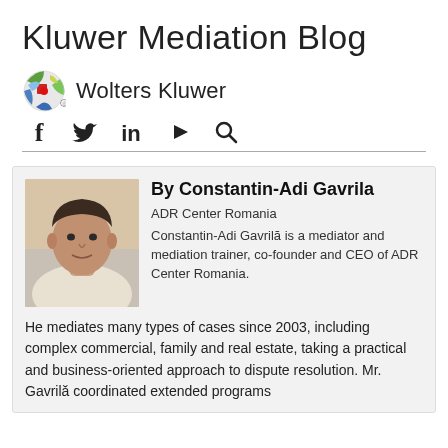Kluwer Mediation Blog
[Figure (logo): Wolters Kluwer logo with colorful globe icon and text 'Wolters Kluwer']
[Figure (infographic): Social media icons: Facebook, Twitter, LinkedIn, YouTube, Search]
[Figure (photo): Headshot photo of Constantin-Adi Gavrila]
By Constantin-Adi Gavrila
ADR Center Romania
Constantin-Adi Gavrilă is a mediator and mediation trainer, co-founder and CEO of ADR Center Romania.
He mediates many types of cases since 2003, including complex commercial, family and real estate, taking a practical and business-oriented approach to dispute resolution. Mr. Gavrilă coordinated extended programs